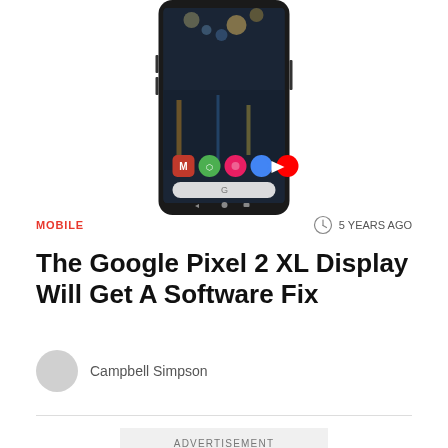[Figure (photo): Google Pixel 2 XL smartphone showing home screen with app icons including Gmail, Maps, Photos, Chrome, YouTube, and a Google search bar, with a rainy city street reflected in the display]
MOBILE
5 YEARS AGO
The Google Pixel 2 XL Display Will Get A Software Fix
Campbell Simpson
ADVERTISEMENT